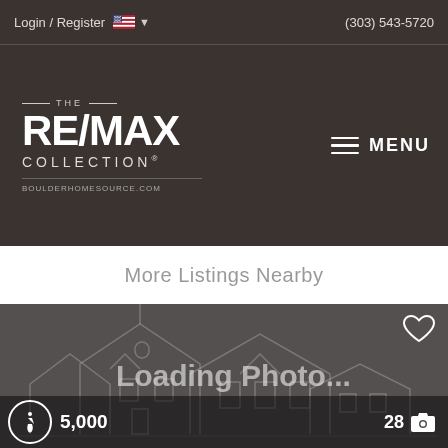Login / Register  (303) 543-5720
[Figure (logo): RE/MAX Collection logo with boulderhomesource.com URL and hamburger MENU button on dark brown background]
More Listings Nearby
[Figure (photo): Loading Photo... placeholder with house outline silhouette on dark grey background, heart icon top-right, accessibility icon and price area bottom-left, 28 camera count bottom-right]